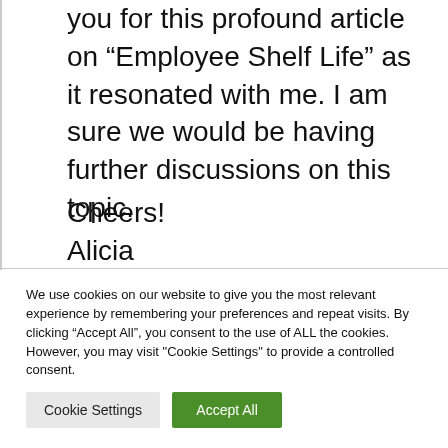you for this profound article on “Employee Shelf Life” as it resonated with me. I am sure we would be having further discussions on this topic.
Cheers!
Alicia
We use cookies on our website to give you the most relevant experience by remembering your preferences and repeat visits. By clicking “Accept All”, you consent to the use of ALL the cookies. However, you may visit "Cookie Settings" to provide a controlled consent.